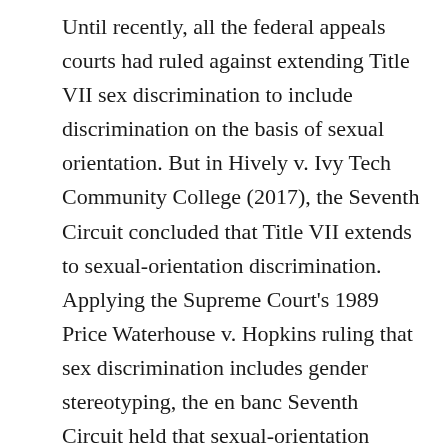Until recently, all the federal appeals courts had ruled against extending Title VII sex discrimination to include discrimination on the basis of sexual orientation. But in Hively v. Ivy Tech Community College (2017), the Seventh Circuit concluded that Title VII extends to sexual-orientation discrimination. Applying the Supreme Court's 1989 Price Waterhouse v. Hopkins ruling that sex discrimination includes gender stereotyping, the en banc Seventh Circuit held that sexual-orientation discrimination is indistinguishable from sex stereotyping. The Second Circuit agreed in Zarda. But the Eleventh Circuit came to the opposite conclusion in Evans v. Georgia Regional Hospital (2017), and the Supreme Court declined to review that case last year.